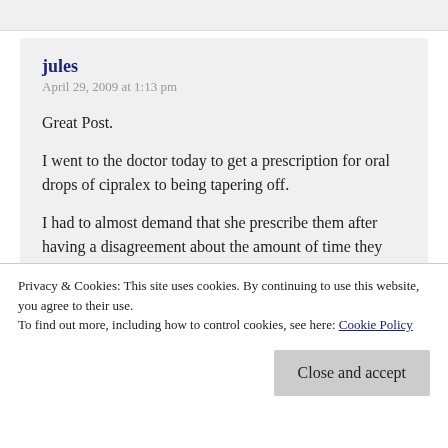jules
April 29, 2009 at 1:13 pm
Great Post.

I went to the doctor today to get a prescription for oral drops of cipralex to being tapering off.

I had to almost demand that she prescribe them after having a disagreement about the amount of time they should be prescribed. I pointed out that they generally shouldn't be prescribed for more that two years and was told “if you have
Privacy & Cookies: This site uses cookies. By continuing to use this website, you agree to their use.
To find out more, including how to control cookies, see here: Cookie Policy
Close and accept
This is the mentality of a lot of doctors and